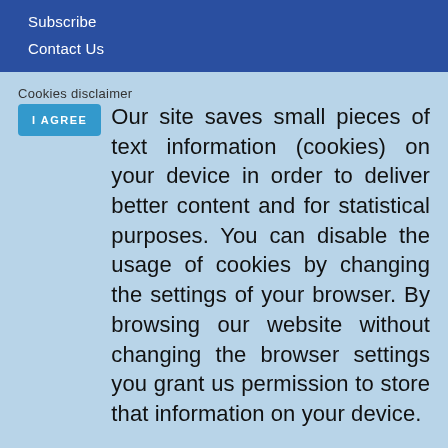Subscribe
Contact Us
Cookies disclaimer
I AGREE  Our site saves small pieces of text information (cookies) on your device in order to deliver better content and for statistical purposes. You can disable the usage of cookies by changing the settings of your browser. By browsing our website without changing the browser settings you grant us permission to store that information on your device.